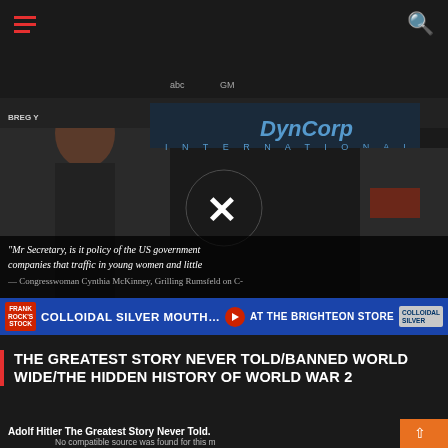Navigation bar with hamburger menu and search icon
[Figure (screenshot): Video thumbnail showing a congresswoman at a press conference with DynCorp International banner behind. Text overlay: "Mr Secretary, is it policy of the US government companies that traffic in young women and little — Congresswoman Cynthia McKinney, Grilling Rumsfeld on C-" with a large X/play button overlay in the center]
[Figure (photo): Advertisement banner: COLLOIDAL SILVER MOUTHWASH & GARGLE AT THE BRIGHTEON STORE]
THE GREATEST STORY NEVER TOLD/BANNED WORLD WIDE/THE HIDDEN HISTORY OF WORLD WAR 2
[Figure (screenshot): Video player showing Adolf Hitler The Greatest Story Never Told. Text: No compatible source was found for this media. Shows Adolf Hitler title card at bottom.]